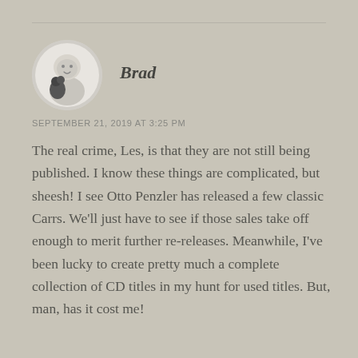[Figure (photo): Circular avatar photo of a baby/toddler in black and white]
Brad
SEPTEMBER 21, 2019 AT 3:25 PM
The real crime, Les, is that they are not still being published. I know these things are complicated, but sheesh! I see Otto Penzler has released a few classic Carrs. We'll just have to see if those sales take off enough to merit further re-releases. Meanwhile, I've been lucky to create pretty much a complete collection of CD titles in my hunt for used titles. But, man, has it cost me!